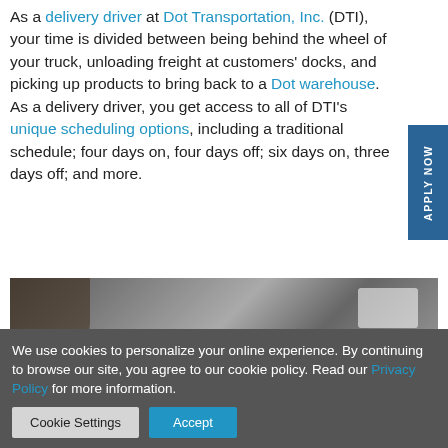As a delivery driver at Dot Transportation, Inc. (DTI), your time is divided between being behind the wheel of your truck, unloading freight at customers' docks, and picking up products to bring back to a Dot warehouse. As a delivery driver, you get access to all of DTI's unique scheduling options, including a traditional schedule; four days on, four days off; six days on, three days off; and more.
[Figure (photo): A blurry photo showing what appears to be a warehouse or truck interior with overhead lighting visible on the right side.]
We use cookies to personalize your online experience. By continuing to browse our site, you agree to our cookie policy. Read our Privacy Policy for more information.